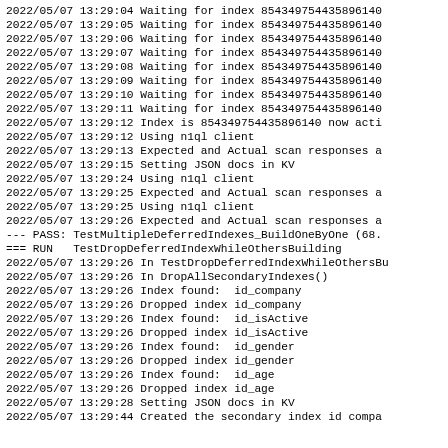2022/05/07 13:29:04 Waiting for index 854349754435896140
2022/05/07 13:29:05 Waiting for index 854349754435896140
2022/05/07 13:29:06 Waiting for index 854349754435896140
2022/05/07 13:29:07 Waiting for index 854349754435896140
2022/05/07 13:29:08 Waiting for index 854349754435896140
2022/05/07 13:29:09 Waiting for index 854349754435896140
2022/05/07 13:29:10 Waiting for index 854349754435896140
2022/05/07 13:29:11 Waiting for index 854349754435896140
2022/05/07 13:29:12 Index is 854349754435896140 now acti
2022/05/07 13:29:12 Using n1ql client
2022/05/07 13:29:13 Expected and Actual scan responses a
2022/05/07 13:29:15 Setting JSON docs in KV
2022/05/07 13:29:24 Using n1ql client
2022/05/07 13:29:25 Expected and Actual scan responses a
2022/05/07 13:29:25 Using n1ql client
2022/05/07 13:29:26 Expected and Actual scan responses a
--- PASS: TestMultipleDeferredIndexes_BuildOneByOne (68.
=== RUN   TestDropDeferredIndexWhileOthersBuilding
2022/05/07 13:29:26 In TestDropDeferredIndexWhileOthersBu
2022/05/07 13:29:26 In DropAllSecondaryIndexes()
2022/05/07 13:29:26 Index found:  id_company
2022/05/07 13:29:26 Dropped index id_company
2022/05/07 13:29:26 Index found:  id_isActive
2022/05/07 13:29:26 Dropped index id_isActive
2022/05/07 13:29:26 Index found:  id_gender
2022/05/07 13:29:26 Dropped index id_gender
2022/05/07 13:29:26 Index found:  id_age
2022/05/07 13:29:26 Dropped index id_age
2022/05/07 13:29:28 Setting JSON docs in KV
2022/05/07 13:29:44 Created the secondary index id compa